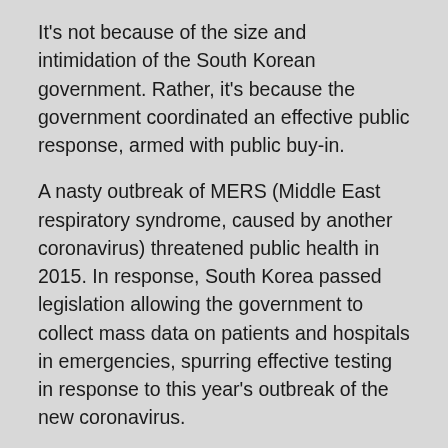It’s not because of the size and intimidation of the South Korean government. Rather, it’s because the government coordinated an effective public response, armed with public buy-in.
A nasty outbreak of MERS (Middle East respiratory syndrome, caused by another coronavirus) threatened public health in 2015. In response, South Korea passed legislation allowing the government to collect mass data on patients and hospitals in emergencies, spurring effective testing in response to this year’s outbreak of the new coronavirus.
With this law, the South Korean government was able to warn the public about those who were potentially infected, as well as the infected themselves, allowing citizens to practice a more targeted form of social distancing.
Although this law could be interpreted as a breach of civil